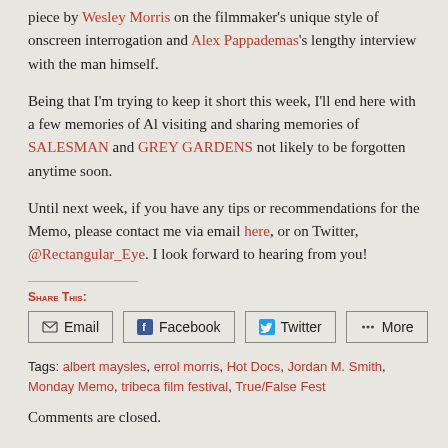piece by Wesley Morris on the filmmaker's unique style of onscreen interrogation and Alex Pappademas's lengthy interview with the man himself.
Being that I'm trying to keep it short this week, I'll end here with a few memories of Al visiting and sharing memories of SALESMAN and GREY GARDENS not likely to be forgotten anytime soon.
Until next week, if you have any tips or recommendations for the Memo, please contact me via email here, or on Twitter, @Rectangular_Eye. I look forward to hearing from you!
Share this:
Email | Facebook | Twitter | More
Tags: albert maysles, errol morris, Hot Docs, Jordan M. Smith, Monday Memo, tribeca film festival, True/False Fest
Comments are closed.